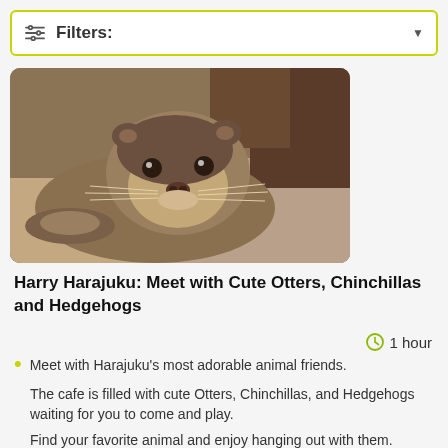Filters:
[Figure (photo): Close-up photo of a cute otter lying flat on a surface, looking directly at the camera with whiskers visible]
Harry Harajuku: Meet with Cute Otters, Chinchillas and Hedgehogs
1 hour
Meet with Harajuku's most adorable animal friends.
The cafe is filled with cute Otters, Chinchillas, and Hedgehogs waiting for you to come and play.
Find your favorite animal and enjoy hanging out with them.
Even if it's your first time to meet with these little critters, the staff will kindly teach you how to communicate... Read